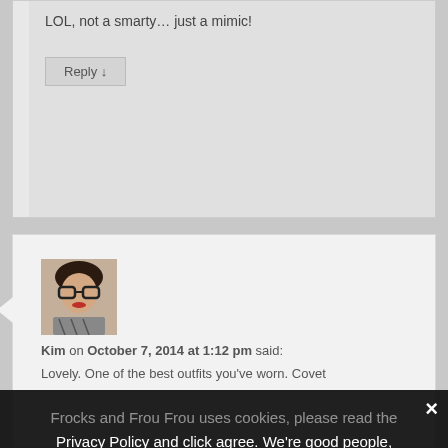LOL, not a smarty… just a mimic!
Reply ↓
[Figure (photo): Avatar photo of Kim: woman with short dark hair, large glasses, red lipstick, patterned top]
Kim on October 7, 2014 at 1:12 pm said:
Lovely. One of the best outfits you've worn. Covet
Frocks and Frou Frou uses cookies, please read the Privacy Policy and click agree. We're good people, we promise!
❯ Privacy Preferences
I Agree